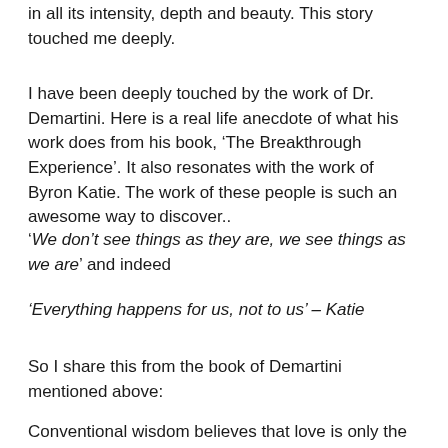in all its intensity, depth and beauty. This story touched me deeply.
I have been deeply touched by the work of Dr. Demartini. Here is a real life anecdote of what his work does from his book, ‘The Breakthrough Experience’. It also resonates with the work of Byron Katie. The work of these people is such an awesome way to discover..
‘We don’t see things as they are, we see things as we are’ and indeed
‘Everything happens for us, not to us’  – Katie
So I share this from the book of Demartini mentioned above:
Conventional wisdom believes that love is only the nice,